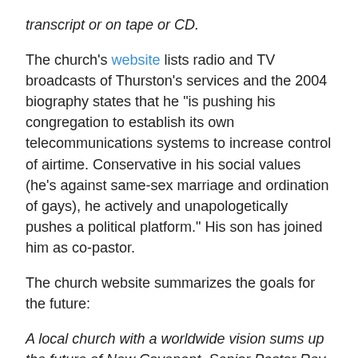transcript or on tape or CD.
The church's website lists radio and TV broadcasts of Thurston's services and the 2004 biography states that he "is pushing his congregation to establish its own telecommunications systems to increase control of airtime. Conservative in his social values (he's against same-sex marriage and ordination of gays), he actively and unapologetically pushes a political platform." His son has joined him as co-pastor.
The church website summarizes the goals for the future:
A local church with a worldwide vision sums up the future of New Covenant. Senior Pastor Rev. Stephen J. Thurston and Co-Pastor Rev. Stephen J. Thurston II are God's appointed pair to spiritually lead the people of New